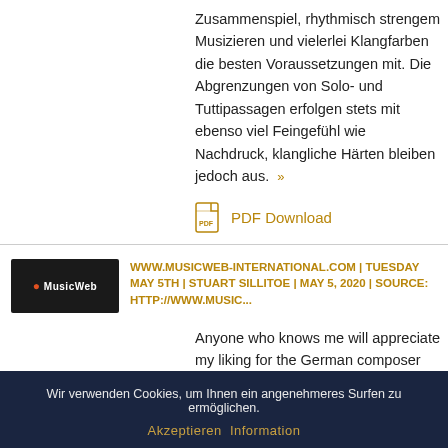Zusammenspiel, rhythmisch strengem Musizieren und vielerlei Klangfarben die besten Voraussetzungen mit. Die Abgrenzungen von Solo- und Tuttipassagen erfolgen stets mit ebenso viel Feingefühl wie Nachdruck, klangliche Härten bleiben jedoch aus. »
PDF Download
WWW.MUSICWEB-INTERNATIONAL.COM | TUESDAY MAY 5TH | STUART SILLITOE | MAY 5, 2020 | SOURCE: HTTP://WWW.MUSIC...
Anyone who knows me will appreciate my liking for the German composer Max Reger, who due to his vast output of organ music and his fondness for »
PDF Download
Wir verwenden Cookies, um Ihnen ein angenehmeres Surfen zu ermöglichen.
Akzeptieren  Information